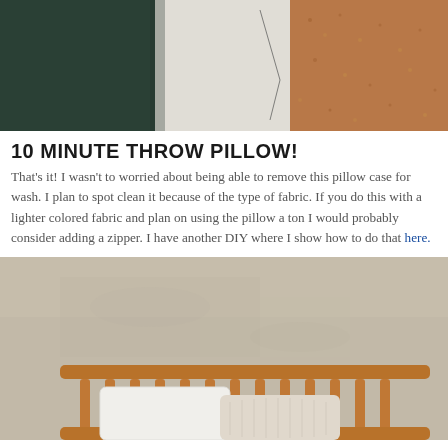[Figure (photo): Close-up photo of person in dark green top sewing or handling brown textured fabric against a light background]
10 MINUTE THROW PILLOW!
That's it! I wasn't to worried about being able to remove this pillow case for wash. I plan to spot clean it because of the type of fabric. If you do this with a lighter colored fabric and plan on using the pillow a ton I would probably consider adding a zipper. I have another DIY where I show how to do that here.
[Figure (photo): Photo of a wooden bed headboard with white and cream pillows against a beige/taupe plaster wall]